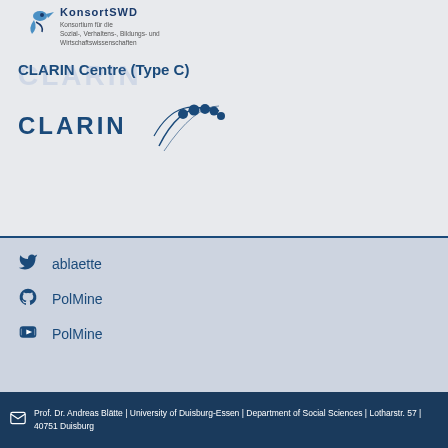[Figure (logo): KonsortSWD logo with bird icon and text: Konsortium für die Sozial-, Verhaltens-, Bildungs- und Wirtschaftswissenschaften]
CLARIN Centre (Type C)
[Figure (logo): CLARIN wordmark with network graph logo in dark blue]
ablaette
PolMine
PolMine
Prof. Dr. Andreas Blätte | University of Duisburg-Essen | Department of Social Sciences | Lotharstr. 57 | 40751 Duisburg